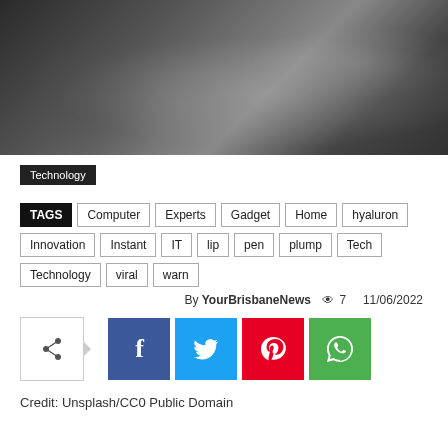[Figure (photo): Black and white close-up abstract photo, appears to show smooth curved surfaces or fabric]
Technology
TAGS  Computer  Experts  Gadget  Home  hyaluron  Innovation  Instant  IT  lip  pen  plump  Tech  Technology  viral  warn
By YourBrisbaneNews  7  11/06/2022
[Figure (infographic): Social share buttons: share icon, Facebook, Twitter, Pinterest, WhatsApp]
Credit: Unsplash/CC0 Public Domain